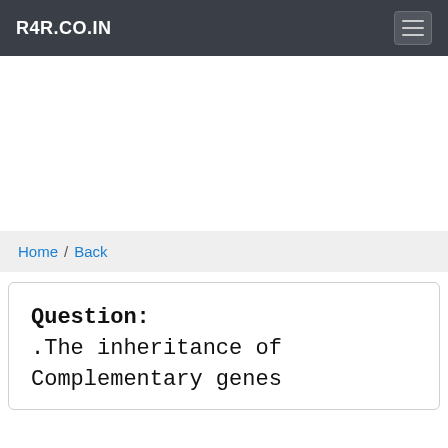R4R.CO.IN
Home / Back
Question:
.The inheritance of Complementary genes